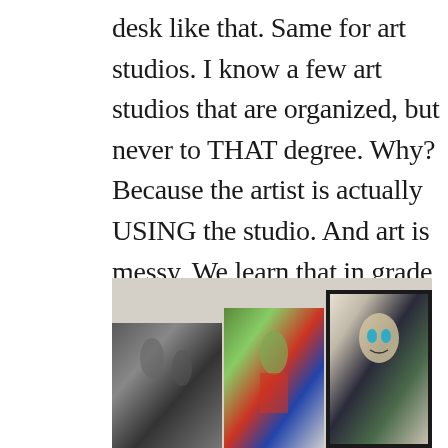desk like that. Same for art studios. I know a few art studios that are organized, but never to THAT degree. Why? Because the artist is actually USING the studio. And art is messy. We learn that in grade school. I've still got glue in my hair, and yes, I ate as much of it as possible. So filling.
[Figure (photo): Three photographs leaning against a light gray wall. Left: black and white photo of figures outdoors. Middle: color photo with red, white and blue elements (patriotic imagery). Right: framed color portrait of a person with distinctive features.]